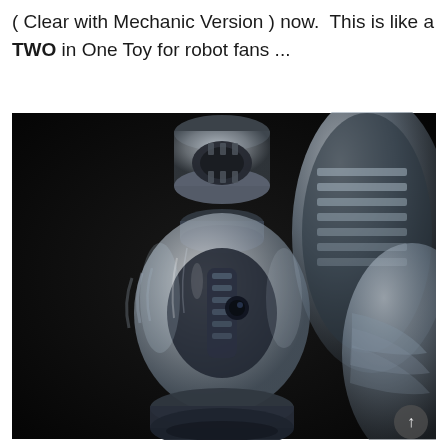( Clear with Mechanic Version ) now.  This is like a TWO in One Toy for robot fans ...
[Figure (photo): Close-up photograph of a clear/transparent robot toy figure showing mechanical internal details visible through the translucent plastic. The robot has a bulb-shaped torso and cylindrical neck with a dark background. Another part of the robot with ribbed transparent panels is visible on the right side.]